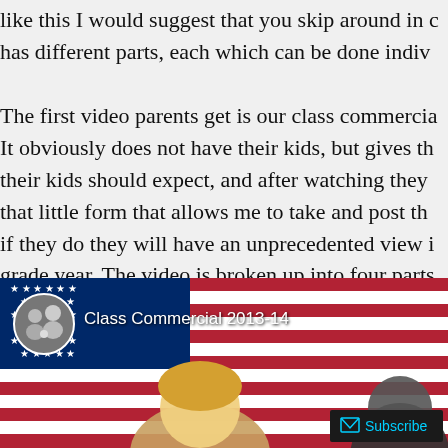like this I would suggest that you skip around in it. It has different parts, each which can be done indiv...
The first video parents get is our class commercia... It obviously does not have their kids, but gives th... their kids should expect, and after watching they... that little form that allows me to take and post t... if they do they will have an unprecedented view i... grade year. The video is broken up into four parts...
[Figure (screenshot): Video thumbnail showing a YouTube-style video player with title 'Class Commercial 2013-14', an avatar circle with a group photo, an American flag background, a person visible in the foreground, and a Subscribe button in the bottom right.]